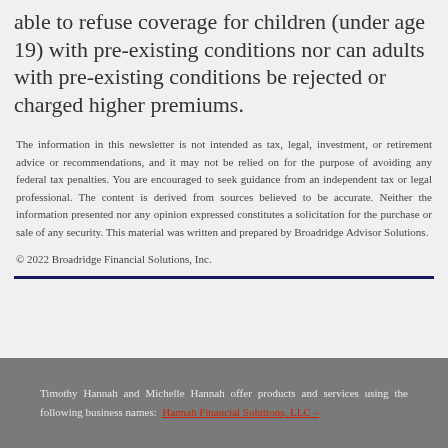able to refuse coverage for children (under age 19) with pre-existing conditions nor can adults with pre-existing conditions be rejected or charged higher premiums.
The information in this newsletter is not intended as tax, legal, investment, or retirement advice or recommendations, and it may not be relied on for the purpose of avoiding any federal tax penalties. You are encouraged to seek guidance from an independent tax or legal professional. The content is derived from sources believed to be accurate. Neither the information presented nor any opinion expressed constitutes a solicitation for the purchase or sale of any security. This material was written and prepared by Broadridge Advisor Solutions. © 2022 Broadridge Financial Solutions, Inc.
Timothy Hannah and Michelle Hannah offer products and services using the following business names: Hannah Financial Solutions, LLC –